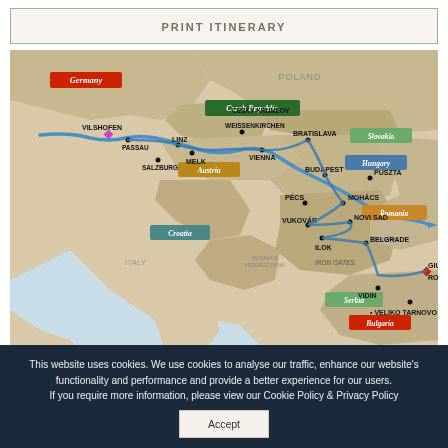PRINT ITINERARY
[Figure (map): Danube river cruise route map showing cities across Germany, Czech Republic, Austria, Slovakia, Hungary, Croatia, Serbia, Romania, Bulgaria. Key cities: Vilshofen, Passau, Salzburg, Linz, Melk, Vienna, Český Krumlov, Weissenkirchen, Bratislava, Budapest, Puszta, Pécs, Mohács, Vukovár, Novi Sad, Ilok, Belgrade, Iron Gates, Vidin, Danube, Giurgiu, Rousse, Veliko Tarnovo.]
This website uses cookies. We use cookies to analyse our traffic, enhance our website's functionality and performance and provide a better experience for our users.
If you require more information, please view our Cookie Policy & Privacy Policy
Accept